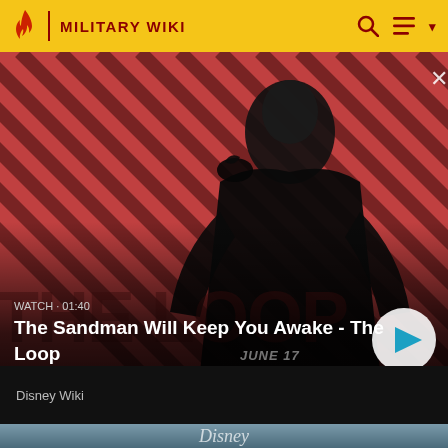MILITARY WIKI
[Figure (screenshot): Video thumbnail showing a dark-cloaked figure with a raven on shoulder against red diagonal striped background. Text overlay: WATCH · 01:40, The Sandman Will Keep You Awake - The Loop. Play button visible. 'Disney Wiki' label at bottom. 'JUNE 17 ONLY IN THEATERS' text overlay.]
[Figure (screenshot): Second video card showing Disney logo on a grey-blue gradient background.]